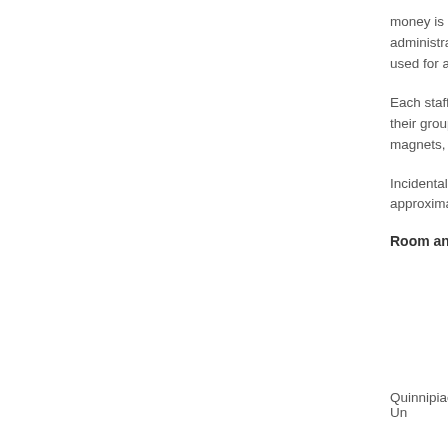money is collected administrators used for a gift
Each staff member their group. Gi magnets, post
Incidentals (pe approximately
Room and Bo
Quinnipiac Un